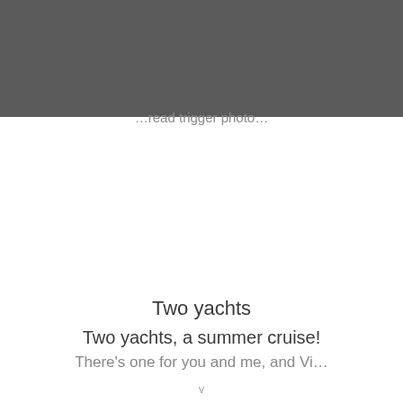[Figure (other): Dark gray header banner at top of page]
…read trigger photo…
Two yachts
Two yachts, a summer cruise!
There's one for you and me, and Vi…
v